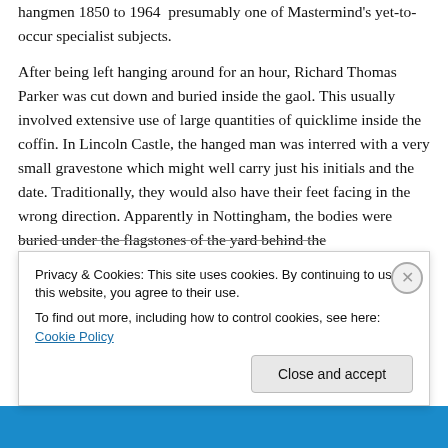hangmen 1850 to 1964  presumably one of Mastermind's yet-to-occur specialist subjects.
After being left hanging around for an hour, Richard Thomas Parker was cut down and buried inside the gaol. This usually involved extensive use of large quantities of quicklime inside the coffin. In Lincoln Castle, the hanged man was interred with a very small gravestone which might well carry just his initials and the date. Traditionally, they would also have their feet facing in the wrong direction. Apparently in Nottingham, the bodies were buried under the flagstones of the yard behind the
Privacy & Cookies: This site uses cookies. By continuing to use this website, you agree to their use.
To find out more, including how to control cookies, see here: Cookie Policy
Close and accept